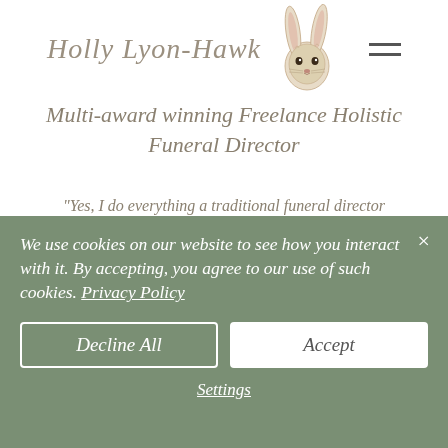Holly Lyon-Hawk
Multi-award winning Freelance Holistic Funeral Director
"Yes, I do everything a traditional funeral director does & so much more!" Holly LH
Important notice to families
As the original Holly's Funerals, I was the founder of Holly's Funerals Ltd in 2016. I left this company in 2019 & although the current owner of that Ltd company still
We use cookies on our website to see how you interact with it. By accepting, you agree to our use of such cookies. Privacy Policy
Decline All
Accept
Settings